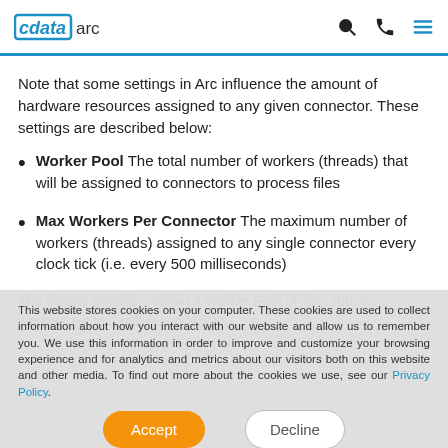cdata arc
Note that some settings in Arc influence the amount of hardware resources assigned to any given connector. These settings are described below:
Worker Pool The total number of workers (threads) that will be assigned to connectors to process files
Max Workers Per Connector The maximum number of workers (threads) assigned to any single connector every clock tick (i.e. every 500 milliseconds)
This website stores cookies on your computer. These cookies are used to collect information about how you interact with our website and allow us to remember you. We use this information in order to improve and customize your browsing experience and for analytics and metrics about our visitors both on this website and other media. To find out more about the cookies we use, see our Privacy Policy.
The figures provide... within a Worker Pool of size 100, with... workers set to... milliseconds 500.